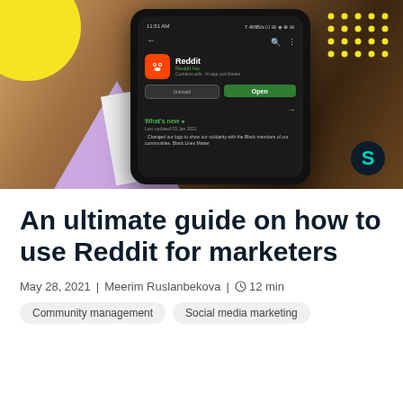[Figure (photo): Hero image showing a smartphone displaying the Reddit app page on Google Play Store, with decorative elements including a yellow circle, purple triangle, and dot grid pattern. A teal 'S' logo badge is visible in the bottom right.]
An ultimate guide on how to use Reddit for marketers
May 28, 2021 | Meerim Ruslanbekova | ⊙ 12 min
Community management
Social media marketing